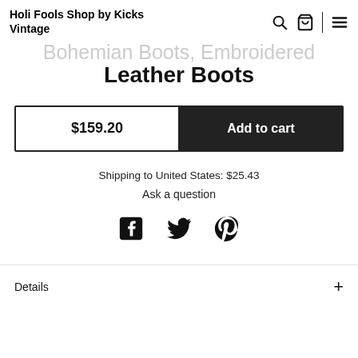Holi Fools Shop by Kicks Vintage
Bohemian Boots, Embroidered Leather Boots
$159.20  Add to cart
Shipping to United States: $25.43
Ask a question
[Figure (other): Social sharing icons: Facebook, Twitter, Pinterest]
Details